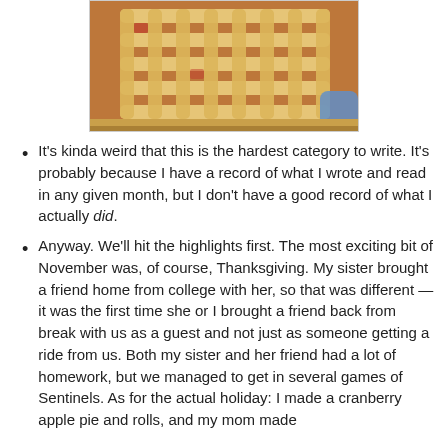[Figure (photo): Close-up photo of a lattice-top pie with golden crust, viewed from above, with a blue dish visible in the background.]
It's kinda weird that this is the hardest category to write. It's probably because I have a record of what I wrote and read in any given month, but I don't have a good record of what I actually did.
Anyway. We'll hit the highlights first. The most exciting bit of November was, of course, Thanksgiving. My sister brought a friend home from college with her, so that was different — it was the first time she or I brought a friend back from break with us as a guest and not just as someone getting a ride from us. Both my sister and her friend had a lot of homework, but we managed to get in several games of Sentinels. As for the actual holiday: I made a cranberry apple pie and rolls, and my mom made